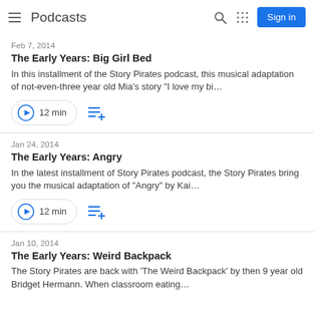Podcasts
Feb 7, 2014
The Early Years: Big Girl Bed
In this installment of the Story Pirates podcast, this musical adaptation of not-even-three year old Mia's story "I love my bi…
12 min
Jan 24, 2014
The Early Years: Angry
In the latest installment of Story Pirates podcast, the Story Pirates bring you the musical adaptation of "Angry" by Kai…
12 min
Jan 10, 2014
The Early Years: Weird Backpack
The Story Pirates are back with  'The Weird Backpack' by then 9 year old Bridget Hermann. When classroom eating…